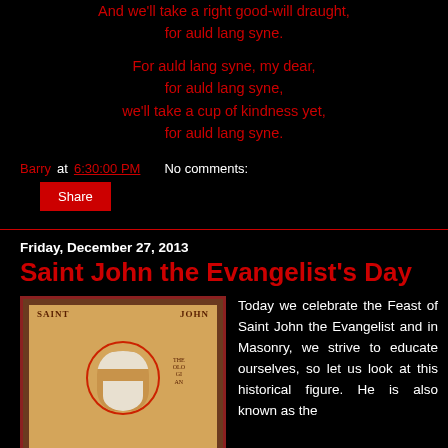And we'll take a right good-will draught,
for auld lang syne.

For auld lang syne, my dear,
for auld lang syne,
we'll take a cup of kindness yet,
for auld lang syne.
Barry at 6:30:00 PM   No comments:
Share
Friday, December 27, 2013
Saint John the Evangelist's Day
[Figure (illustration): Religious icon of Saint John the Evangelist depicted in Byzantine style with halo, white beard, and the label SAINT JOHN THE THEOLOGIAN]
Today we celebrate the Feast of Saint John the Evangelist and in Masonry, we strive to educate ourselves, so let us look at this historical figure. He is also known as the